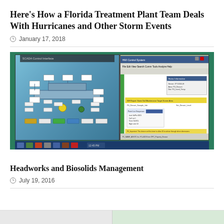Here's How a Florida Treatment Plant Team Deals With Hurricanes and Other Storm Events
January 17, 2018
[Figure (screenshot): Screenshot of a SCADA/HMI computer interface showing a treatment plant control system on a green desk/monitor background. Left panel shows a schematic diagram of plant equipment in blue. Right panel shows a Windows-style HMI interface with dialog boxes and a yellow highlighted bar.]
Headworks and Biosolids Management
July 19, 2016